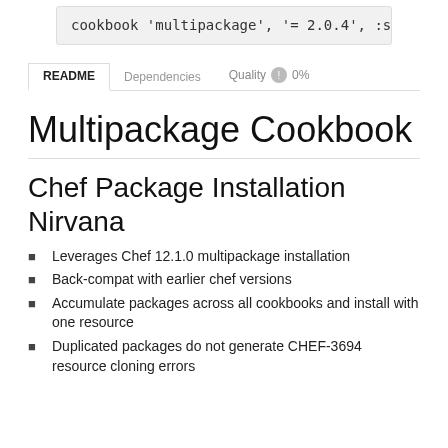[Figure (screenshot): Code block showing: cookbook 'multipackage', '= 2.0.4', :superm]
README  Dependencies  Quality 0%
Multipackage Cookbook
Chef Package Installation Nirvana
Leverages Chef 12.1.0 multipackage installation
Back-compat with earlier chef versions
Accumulate packages across all cookbooks and install with one resource
Duplicated packages do not generate CHEF-3694 resource cloning errors